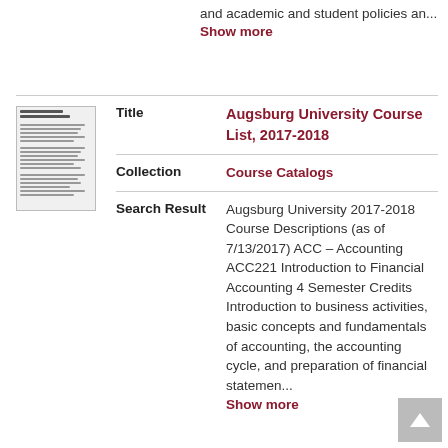and academic and student policies an...
Show more
|  | Title | Augsburg University Course List, 2017-2018 |
| --- | --- | --- |
| [thumbnail] | Collection | Course Catalogs |
|  | Search Result | Augsburg University 2017-2018 Course Descriptions (as of 7/13/2017) ACC – Accounting ACC221 Introduction to Financial Accounting 4 Semester Credits Introduction to business activities, basic concepts and fundamentals of accounting, the accounting cycle, and preparation of financial statemen... Show more |